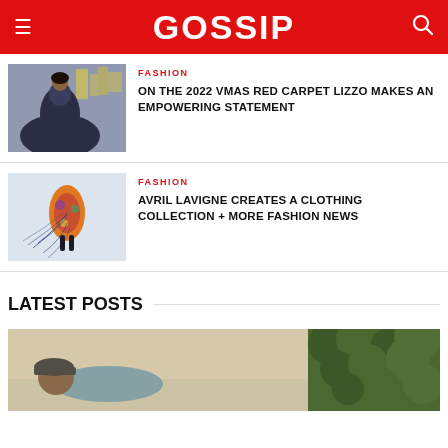GOSSIP
[Figure (photo): Person in large dark blue ruffled gown on red carpet/event backdrop]
FASHION
ON THE 2022 VMAS RED CARPET LIZZO MAKES AN EMPOWERING STATEMENT
[Figure (photo): Aerial view of fashion shoot with colorful outfit and blue strings/threads]
FASHION
AVRIL LAVIGNE CREATES A CLOTHING COLLECTION + MORE FASHION NEWS
LATEST POSTS
[Figure (photo): Person lying outdoors near greenery/ivy wall, wearing dark cap]